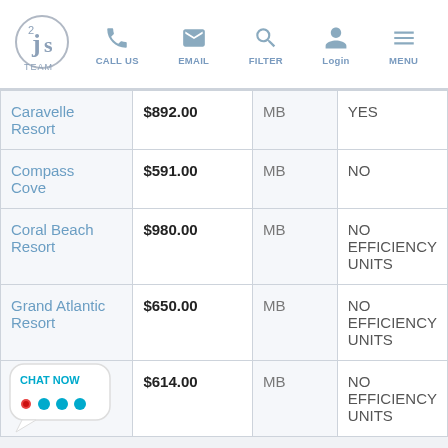JS Team — CALL US | EMAIL | FILTER | Login | MENU
| Resort | Price | Area | Notes |
| --- | --- | --- | --- |
| Caravelle Resort | $892.00 | MB | YES |
| Compass Cove | $591.00 | MB | NO |
| Coral Beach Resort | $980.00 | MB | NO EFFICIENCY UNITS |
| Grand Atlantic Resort | $650.00 | MB | NO EFFICIENCY UNITS |
| Landmark Resort | $614.00 | MB | NO EFFICIENCY UNITS |